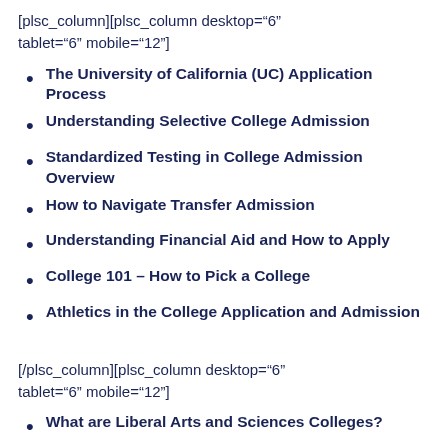[plsc_column][plsc_column desktop="6" tablet="6" mobile="12"]
The University of California (UC) Application Process
Understanding Selective College Admission
Standardized Testing in College Admission Overview
How to Navigate Transfer Admission
Understanding Financial Aid and How to Apply
College 101 – How to Pick a College
Athletics in the College Application and Admission
[/plsc_column][plsc_column desktop="6" tablet="6" mobile="12"]
What are Liberal Arts and Sciences Colleges?